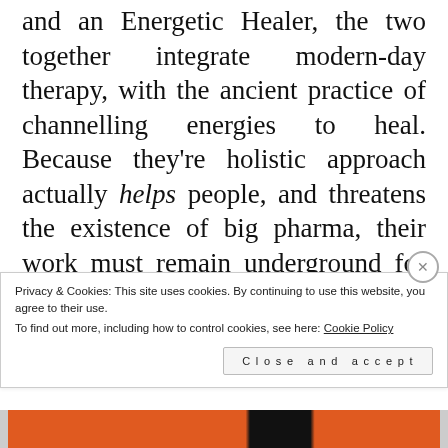and an Energetic Healer, the two together integrate modern-day therapy, with the ancient practice of channelling energies to heal. Because they're holistic approach actually helps people, and threatens the existence of big pharma, their work must remain underground for now. During a reading over dinner we were joined by my angels, two of which had something to tell me...
Privacy & Cookies: This site uses cookies. By continuing to use this website, you agree to their use.
To find out more, including how to control cookies, see here: Cookie Policy
Close and accept